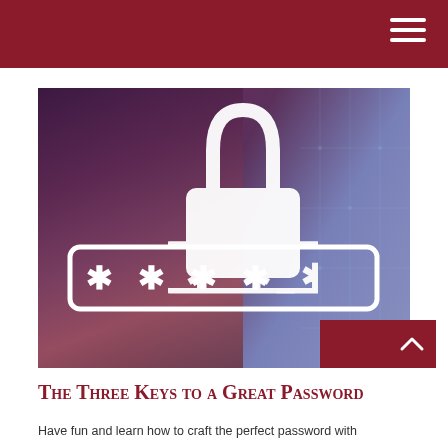[Figure (photo): Woman wearing glasses working on a laptop, with a digital lock icon and password asterisks overlay on a purple-tinted background]
The Three Keys to a Great Password
Have fun and learn how to craft the perfect password with